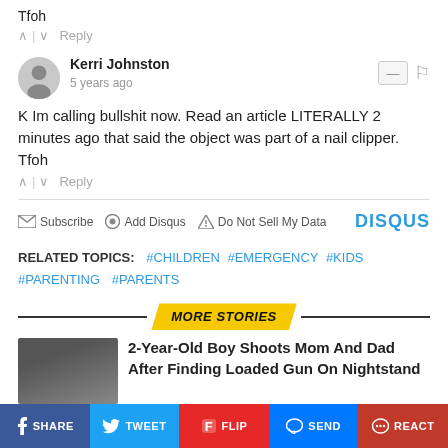Tfoh
^ | v  Reply
Kerri Johnston
5 years ago
K Im calling bullshit now. Read an article LITERALLY 2 minutes ago that said the object was part of a nail clipper. Tfoh
^ | v  Reply
Subscribe  Add Disqus  Do Not Sell My Data  DISQUS
RELATED TOPICS: #CHILDREN #EMERGENCY #KIDS #PARENTING #PARENTS
MORE STORIES
2-Year-Old Boy Shoots Mom And Dad After Finding Loaded Gun On Nightstand
SHARE  TWEET  FLIP  SEND  REACT